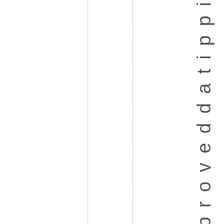e m a n d a t e s t h a t p r o v e d d a t i p p i